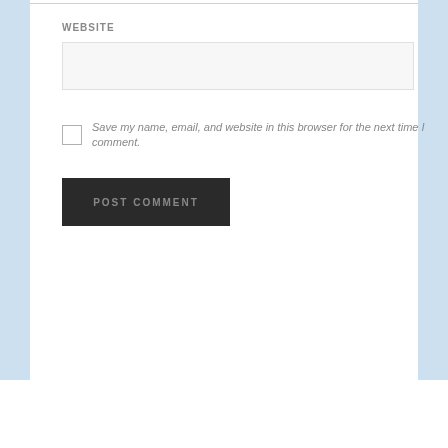WEBSITE
Save my name, email, and website in this browser for the next time I comment.
POST COMMENT